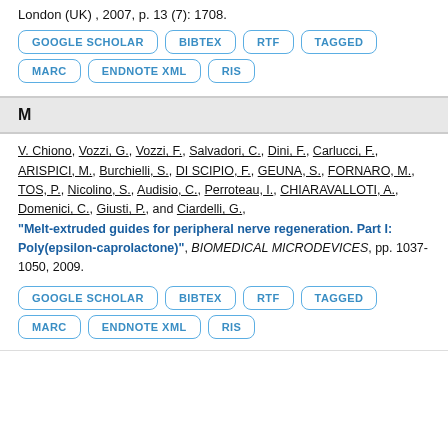London (UK) , 2007, p. 13 (7): 1708.
GOOGLE SCHOLAR
BIBTEX
RTF
TAGGED
MARC
ENDNOTE XML
RIS
M
V. Chiono, Vozzi, G., Vozzi, F., Salvadori, C., Dini, F., Carlucci, F., ARISPICI, M., Burchielli, S., DI SCIPIO, F., GEUNA, S., FORNARO, M., TOS, P., Nicolino, S., Audisio, C., Perroteau, I., CHIARAVALLOTI, A., Domenici, C., Giusti, P., and Ciardelli, G., "Melt-extruded guides for peripheral nerve regeneration. Part I: Poly(epsilon-caprolactone)", BIOMEDICAL MICRODEVICES, pp. 1037-1050, 2009.
GOOGLE SCHOLAR
BIBTEX
RTF
TAGGED
MARC
ENDNOTE XML
RIS